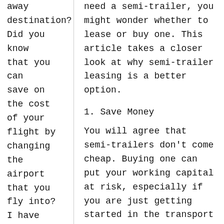away destination? Did you know that you can save on the cost of your flight by changing the airport that you fly into? I have
need a semi-trailer, you might wonder whether to lease or buy one. This article takes a closer look at why semi-trailer leasing is a better option.
1. Save Money
You will agree that semi-trailers don't come cheap. Buying one can put your working capital at risk, especially if you are just getting started in the transport industry. This is the last thing you want since it can ruin your company's reputation if you don't meet customers' demands.
The good news is that leasing allows you to access a semi-trailer at an